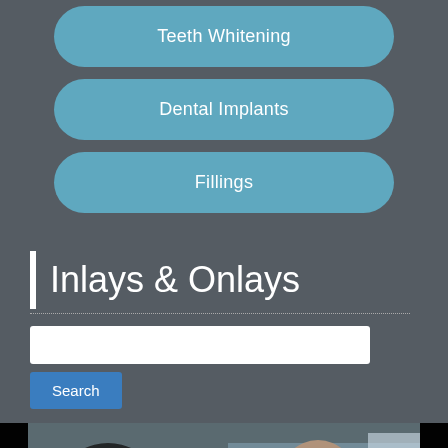Teeth Whitening
Dental Implants
Fillings
Inlays & Onlays
[Figure (screenshot): Search input box and Search button on dark background]
[Figure (photo): Video thumbnail showing a smiling man in a casual setting, with a play button overlay and caption 'Tooth-Colored Fillings']